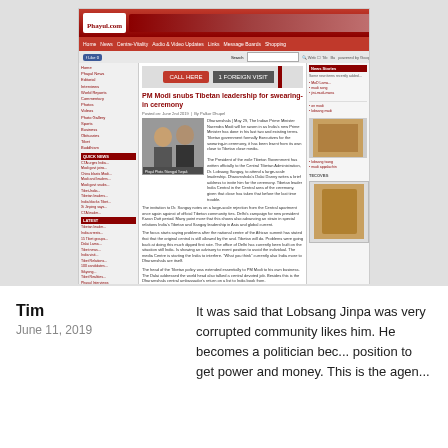[Figure (screenshot): Screenshot of a news website (Phayul.com) showing an article titled 'PM Modi snubs Tibetan leadership for swearing-in ceremony' with navigation bars, sidebars, article text, photo of two political figures, advertisement banners, related articles section, and website footer.]
Reply
Tim
June 11, 2019
It was said that Lobsang Jinpa was very corrupted community likes him. He becomes a politician bec... position to get power and money. This is the agen... D...d...l... f... ...d...l...d......l...d...l...t...